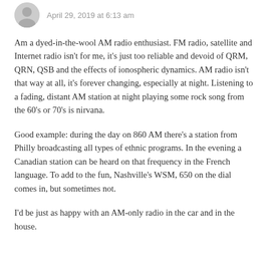April 29, 2019 at 6:13 am
Am a dyed-in-the-wool AM radio enthusiast. FM radio, satellite and Internet radio isn't for me, it's just too reliable and devoid of QRM, QRN, QSB and the effects of ionospheric dynamics. AM radio isn't that way at all, it's forever changing, especially at night. Listening to a fading, distant AM station at night playing some rock song from the 60's or 70's is nirvana.
Good example: during the day on 860 AM there's a station from Philly broadcasting all types of ethnic programs. In the evening a Canadian station can be heard on that frequency in the French language. To add to the fun, Nashville's WSM, 650 on the dial comes in, but sometimes not.
I'd be just as happy with an AM-only radio in the car and in the house.